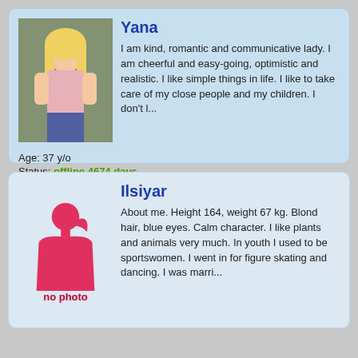[Figure (photo): Profile photo of Yana, a blonde woman in a pink top outdoors]
Yana
I am kind, romantic and communicative lady. I am cheerful and easy-going, optimistic and realistic. I like simple things in life. I like to take care of my close people and my children. I don't l...
Age: 37 y/o
Status: offline 4674 days
Send PM
[Figure (illustration): No photo placeholder with pink female silhouette and 'no photo' label]
Ilsiyar
About me. Height 164, weight 67 kg. Blond hair, blue eyes. Calm character. I like plants and animals very much. In youth I used to be sportswomen. I went in for figure skating and dancing. I was marri...